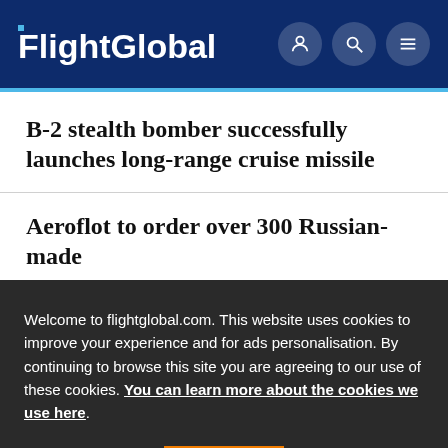FlightGlobal
B-2 stealth bomber successfully launches long-range cruise missile
Aeroflot to order over 300 Russian-made
Welcome to flightglobal.com. This website uses cookies to improve your experience and for ads personalisation. By continuing to browse this site you are agreeing to our use of these cookies. You can learn more about the cookies we use here.
OK
billion UH-60M deal for Australia